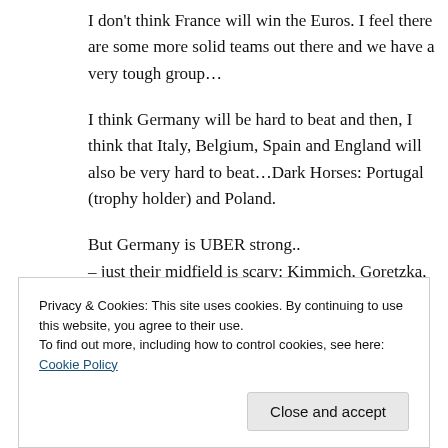I don't think France will win the Euros. I feel there are some more solid teams out there and we have a very tough group…
I think Germany will be hard to beat and then, I think that Italy, Belgium, Spain and England will also be very hard to beat…Dark Horses: Portugal (trophy holder) and Poland.
But Germany is UBER strong..
– just their midfield is scary: Kimmich, Goretzka, Gundogan, Kross, Can, Musiala
Privacy & Cookies: This site uses cookies. By continuing to use this website, you agree to their use.
To find out more, including how to control cookies, see here: Cookie Policy
strongest but it is still very good and it protected